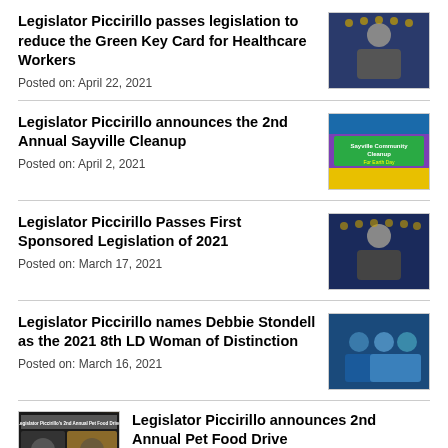Legislator Piccirillo passes legislation to reduce the Green Key Card for Healthcare Workers
Posted on: April 22, 2021
Legislator Piccirillo announces the 2nd Annual Sayville Cleanup
Posted on: April 2, 2021
Legislator Piccirillo Passes First Sponsored Legislation of 2021
Posted on: March 17, 2021
Legislator Piccirillo names Debbie Stondell as the 2021 8th LD Woman of Distinction
Posted on: March 16, 2021
Legislator Piccirillo announces 2nd Annual Pet Food Drive
Posted on: March 15, 2021